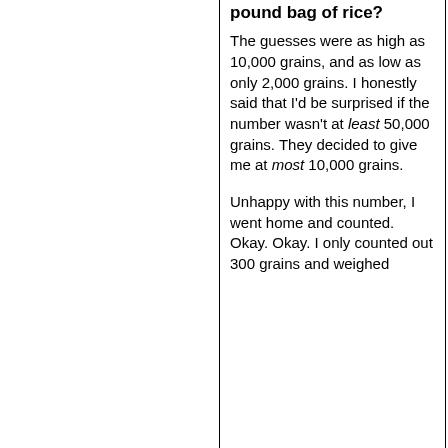pound bag of rice?
The guesses were as high as 10,000 grains, and as low as only 2,000 grains. I honestly said that I'd be surprised if the number wasn't at least 50,000 grains. They decided to give me at most 10,000 grains.
Unhappy with this number, I went home and counted. Okay. Okay. I only counted out 300 grains and weighed them...